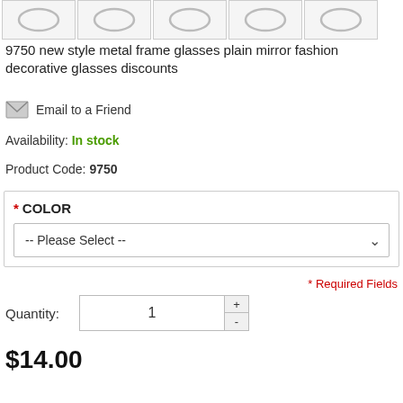[Figure (other): Row of 5 product thumbnail images showing glasses frames]
9750 new style metal frame glasses plain mirror fashion decorative glasses discounts
Email to a Friend
Availability: In stock
Product Code: 9750
* COLOR -- Please Select --
* Required Fields
Quantity: 1
$14.00